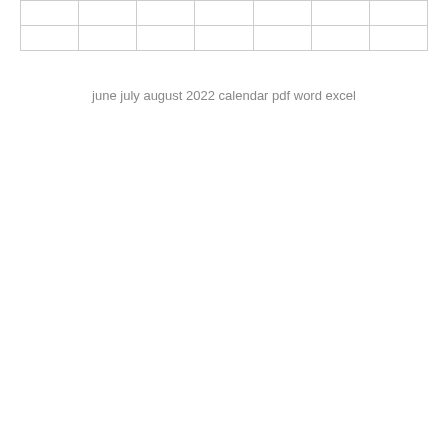|  |  |  |  |  |  |  |
|  |  |  |  |  |  |  |
june july august 2022 calendar pdf word excel